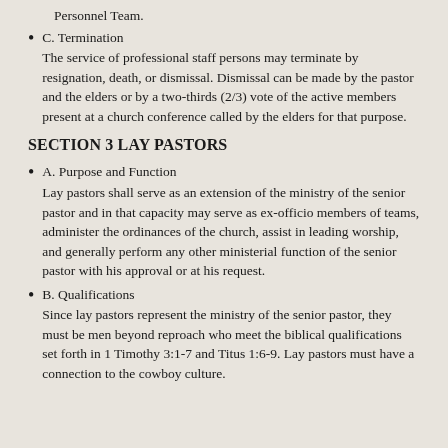Personnel Team.
C. Termination
The service of professional staff persons may terminate by resignation, death, or dismissal. Dismissal can be made by the pastor and the elders or by a two-thirds (2/3) vote of the active members present at a church conference called by the elders for that purpose.
SECTION 3 LAY PASTORS
A. Purpose and Function
Lay pastors shall serve as an extension of the ministry of the senior pastor and in that capacity may serve as ex-officio members of teams, administer the ordinances of the church, assist in leading worship, and generally perform any other ministerial function of the senior pastor with his approval or at his request.
B. Qualifications
Since lay pastors represent the ministry of the senior pastor, they must be men beyond reproach who meet the biblical qualifications set forth in 1 Timothy 3:1-7 and Titus 1:6-9. Lay pastors must have a connection to the cowboy culture.